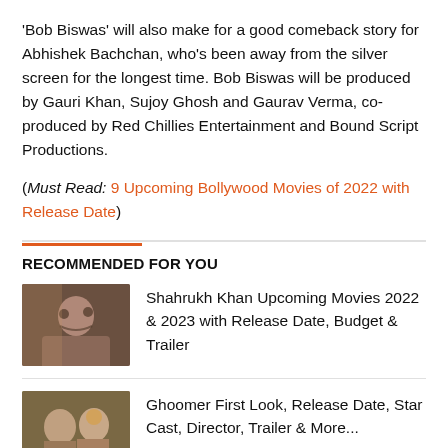'Bob Biswas' will also make for a good comeback story for Abhishek Bachchan, who's been away from the silver screen for the longest time. Bob Biswas will be produced by Gauri Khan, Sujoy Ghosh and Gaurav Verma, co-produced by Red Chillies Entertainment and Bound Script Productions.
(Must Read: 9 Upcoming Bollywood Movies of 2022 with Release Date)
RECOMMENDED FOR YOU
Shahrukh Khan Upcoming Movies 2022 & 2023 with Release Date, Budget & Trailer
Ghoomer First Look, Release Date, Star Cast, Director, Trailer & More...